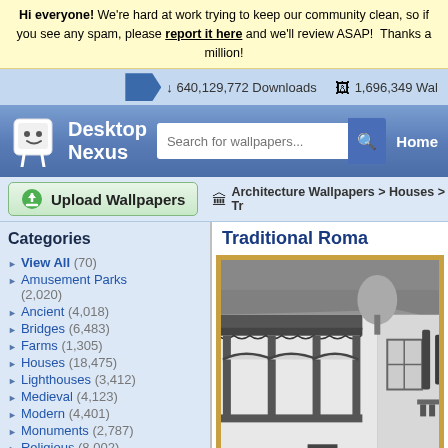Hi everyone! We're hard at work trying to keep our community clean, so if you see any spam, please report it here and we'll review ASAP! Thanks a million!
640,129,772 Downloads  1,696,349 Wallpapers
[Figure (screenshot): Desktop Nexus website header with logo, search bar, and Home navigation]
Upload Wallpapers
Architecture Wallpapers > Houses > Tr...
Categories
View All (70)
Amusement Parks (2,020)
Ancient (4,018)
Bridges (6,483)
Farms (1,305)
Houses (18,475)
Lighthouses (3,412)
Medieval (4,123)
Modern (4,401)
Monuments (2,787)
Religious (8,002)
Skyscrapers (3,833)
Other (15,583)
Traditional Roma...
[Figure (photo): Black and white photograph of a traditional Romanian house with ornate wooden veranda, arches, and rustic items in foreground]